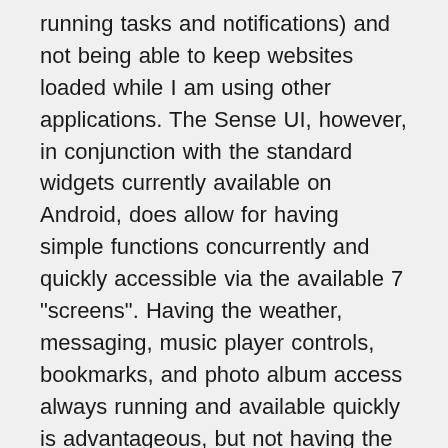running tasks and notifications) and not being able to keep websites loaded while I am using other applications. The Sense UI, however, in conjunction with the standard widgets currently available on Android, does allow for having simple functions concurrently and quickly accessible via the available 7 "screens". Having the weather, messaging, music player controls, bookmarks, and photo album access always running and available quickly is advantageous, but not having the ability to leave browser pages open prevents me from truly taking advantage of the multitasking goodness of the OS. I could see myself trying to make do with a Google Reader widget, but as soon as I started selecting links and interfacing between that site and Facebook/email/messaging, I feel I may be left a bit disappointed. It sure is nice for Android to have Flexibility, but I am not...